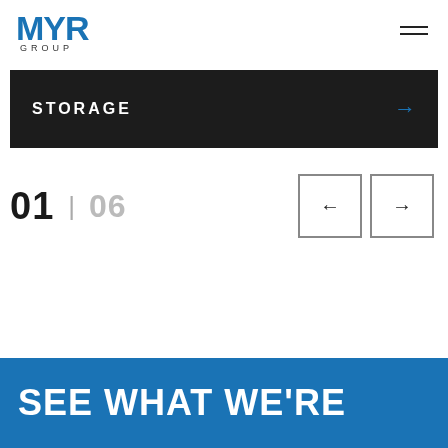[Figure (logo): MYR GROUP logo in blue with 'GROUP' text below]
[Figure (other): Hamburger menu icon (two horizontal lines)]
STORAGE
01 | 06
[Figure (other): Left arrow navigation button (square outline)]
[Figure (other): Right arrow navigation button (square outline)]
SEE WHAT WE'RE